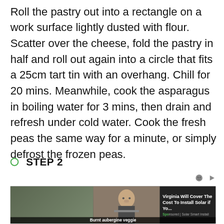Roll the pastry out into a rectangle on a work surface lightly dusted with flour. Scatter over the cheese, fold the pastry in half and roll out again into a circle that fits a 25cm tart tin with an overhang. Chill for 20 mins. Meanwhile, cook the asparagus in boiling water for 3 mins, then drain and refresh under cold water. Cook the fresh peas the same way for a minute, or simply defrost the frozen peas.
STEP 2
[Figure (photo): Advertisement banner with photo of a woman speaking at a podium, overlaid with text: 'Virginia Will Cover The Cost To Install Solar if Yo...' and 'Sponsored | Solar Smart Install', with a partially visible label 'Burnt aubergine veggie']